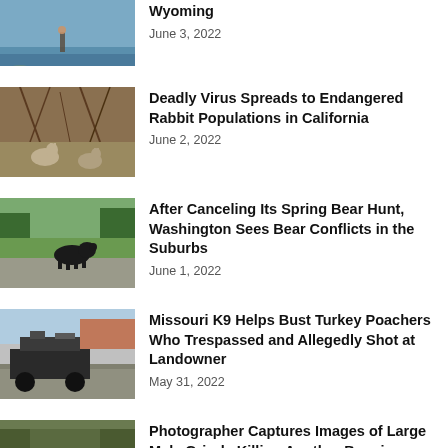[Figure (photo): Person wading in water, Wyoming fishing scene]
Wyoming
June 3, 2022
[Figure (photo): Rabbits near brush and trees in California]
Deadly Virus Spreads to Endangered Rabbit Populations in California
June 2, 2022
[Figure (photo): Black bear walking on gravel road with green grass and trees]
After Canceling Its Spring Bear Hunt, Washington Sees Bear Conflicts in the Suburbs
June 1, 2022
[Figure (photo): ATV or utility vehicle loaded with equipment and gear]
Missouri K9 Helps Bust Turkey Poachers Who Trespassed and Allegedly Shot at Landowner
May 31, 2022
[Figure (photo): Grizzly bear in wooded/outdoor setting]
Photographer Captures Images of Large Male Grizzly Killing Another Bear in